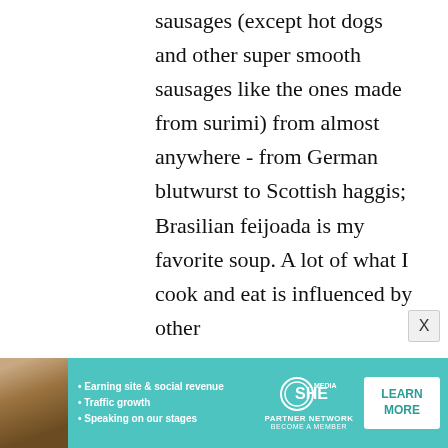sausages (except hot dogs and other super smooth sausages like the ones made from surimi) from almost anywhere - from German blutwurst to Scottish haggis; Brasilian feijoada is my favorite soup. A lot of what I cook and eat is influenced by other
[Figure (infographic): SHE Partner Network advertisement banner with teal background. Features a woman's photo on the left, bullet points reading 'Earning site & social revenue', 'Traffic growth', 'Speaking on our stages', SHE Partner Network logo in center, and a 'LEARN MORE' button on the right.]